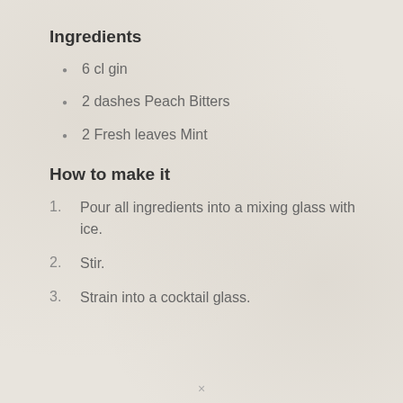Ingredients
6 cl gin
2 dashes Peach Bitters
2 Fresh leaves Mint
How to make it
1. Pour all ingredients into a mixing glass with ice.
2. Stir.
3. Strain into a cocktail glass.